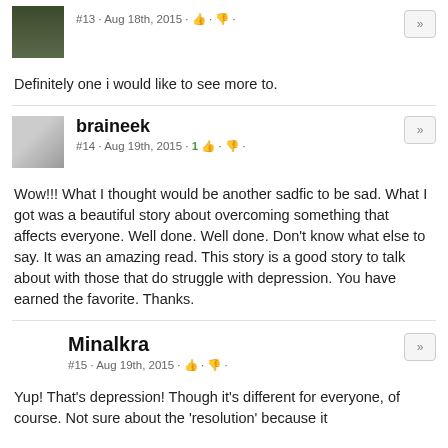#13 · Aug 18th, 2015
Definitely one i would like to see more to.
braineek
#14 · Aug 19th, 2015 · 1
Wow!!! What I thought would be another sadfic to be sad. What I got was a beautiful story about overcoming something that affects everyone. Well done. Well done. Don't know what else to say. It was an amazing read. This story is a good story to talk about with those that do struggle with depression. You have earned the favorite. Thanks.
Minalkra
#15 · Aug 19th, 2015
Yup! That's depression! Though it's different for everyone, of course. Not sure about the 'resolution' because it